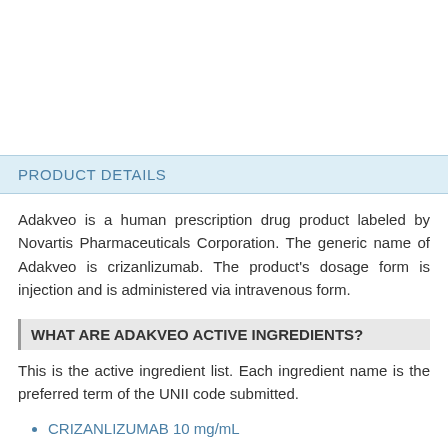PRODUCT DETAILS
Adakveo is a human prescription drug product labeled by Novartis Pharmaceuticals Corporation. The generic name of Adakveo is crizanlizumab. The product's dosage form is injection and is administered via intravenous form.
WHAT ARE ADAKVEO ACTIVE INGREDIENTS?
This is the active ingredient list. Each ingredient name is the preferred term of the UNII code submitted.
CRIZANLIZUMAB 10 mg/mL